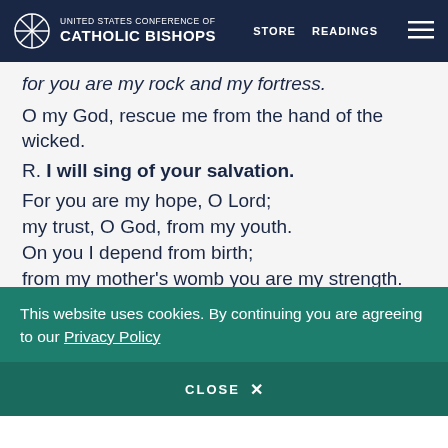UNITED STATES CONFERENCE OF CATHOLIC BISHOPS | STORE | READINGS
for you are my rock and my fortress.
O my God, rescue me from the hand of the wicked.
R. I will sing of your salvation.
For you are my hope, O Lord;
my trust, O God, from my youth.
On you I depend from birth;
from my mother’s womb you are my strength.
R. I will sing of your salvation.
This website uses cookies. By continuing you are agreeing to our Privacy Policy
CLOSE X